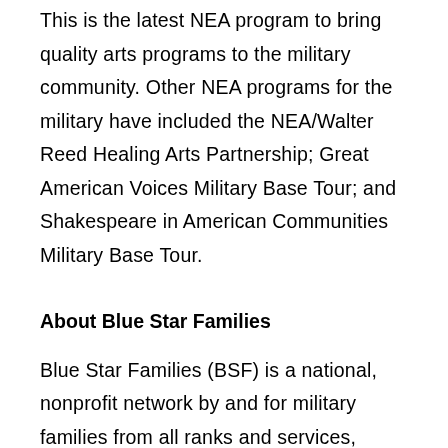This is the latest NEA program to bring quality arts programs to the military community. Other NEA programs for the military have included the NEA/Walter Reed Healing Arts Partnership; Great American Voices Military Base Tour; and Shakespeare in American Communities Military Base Tour.
About Blue Star Families
Blue Star Families (BSF) is a national, nonprofit network by and for military families from all ranks and services, including active duty, National Guard and reserves. As the largest and fastest growing military family